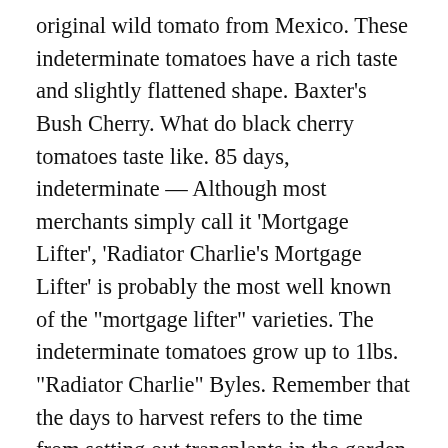original wild tomato from Mexico. These indeterminate tomatoes have a rich taste and slightly flattened shape. Baxter's Bush Cherry. What do black cherry tomatoes taste like. 85 days, indeterminate — Although most merchants simply call it 'Mortgage Lifter', 'Radiator Charlie's Mortgage Lifter' is probably the most well known of the "mortgage lifter" varieties. The indeterminate tomatoes grow up to 1lbs. "Radiator Charlie" Byles. Remember that the days to harvest refers to the time from setting out transplants in the garden. Prune to one leader pinching suckers in leaf axles every 7 to 10 days. Mortgage Lifter. Wrong! They can reach heights of up to 12 feet although 6 feet is normal. If you want a thick tomato for making